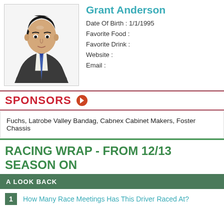[Figure (illustration): Illustrated avatar of a man in a dark suit with blue tie, dark hair]
Grant Anderson
Date Of Birth : 1/1/1995
Favorite Food :
Favorite Drink :
Website :
Email :
SPONSORS
Fuchs, Latrobe Valley Bandag, Cabnex Cabinet Makers, Foster Chassis
RACING WRAP - FROM 12/13 SEASON ON
A LOOK BACK
How Many Race Meetings Has This Driver Raced At?